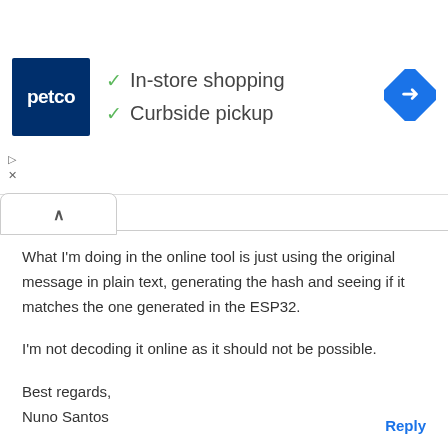[Figure (logo): Petco logo with in-store shopping and curbside pickup checkmarks, and a navigation arrow icon]
What I'm doing in the online tool is just using the original message in plain text, generating the hash and seeing if it matches the one generated in the ESP32.

I'm not decoding it online as it should not be possible.

Best regards,
Nuno Santos
Reply